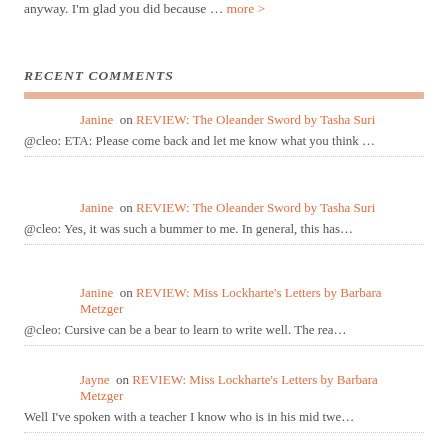anyway. I'm glad you did because … more >
RECENT COMMENTS
Janine  on  REVIEW: The Oleander Sword by Tasha Suri
@cleo: ETA: Please come back and let me know what you think …
Janine  on  REVIEW: The Oleander Sword by Tasha Suri
@cleo: Yes, it was such a bummer to me. In general, this has…
Janine  on  REVIEW: Miss Lockharte's Letters by Barbara Metzger
@cleo: Cursive can be a bear to learn to write well. The rea…
Jayne  on  REVIEW: Miss Lockharte's Letters by Barbara Metzger
Well I've spoken with a teacher I know who is in his mid twe…